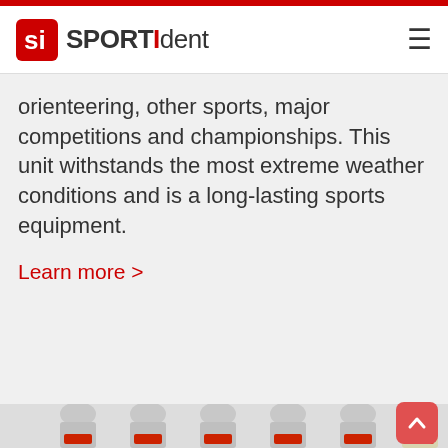SPORTident
orienteering, other sports, major competitions and championships. This unit withstands the most extreme weather conditions and is a long-lasting sports equipment.
Learn more >
[Figure (photo): Row of SPORTident SI units/stations in various colors with red SI logos, photographed from the front, partially cut off at the bottom of the page.]